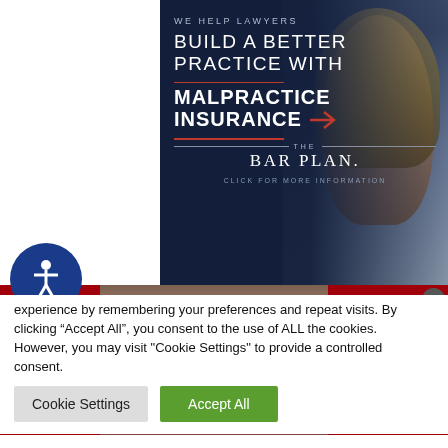[Figure (illustration): The Bar Plan advertisement: dark navy blue background with blonde woman on phone, text reads 'WE HELP LAWYERS BUILD A BETTER PRACTICE WITH MALPRACTICE INSURANCE — THE BAR PLAN. CLICK FOR MORE INFORMATION']
[Figure (illustration): Macy's advertisement: red background with model showing red lips, text reads 'KISS BORING LIPS GOODBYE', 'SHOP NOW', and Macy's star logo]
experience by remembering your preferences and repeat visits. By clicking “Accept All”, you consent to the use of ALL the cookies. However, you may visit "Cookie Settings" to provide a controlled consent.
Cookie Settings
Accept All